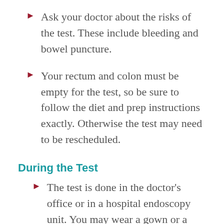Ask your doctor about the risks of the test. These include bleeding and bowel puncture.
Your rectum and colon must be empty for the test, so be sure to follow the diet and prep instructions exactly. Otherwise the test may need to be rescheduled.
During the Test
The test is done in the doctor's office or in a hospital endoscopy unit. You may wear a gown or a drape over your lower body.